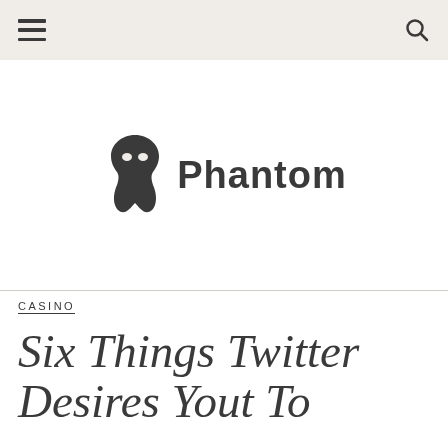navigation bar with hamburger menu and search icon
[Figure (logo): Phantom logo: a dark mask/phantom face silhouette icon next to the word 'Phantom' in bold dark text]
CASINO
Six Things Twitter Desires Yout To